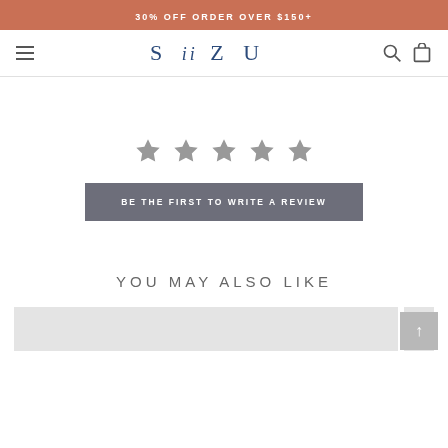30% OFF ORDER OVER $150+
[Figure (logo): SiiZU brand navigation bar with hamburger menu, logo, search and cart icons]
[Figure (other): Five grey star rating icons arranged horizontally]
BE THE FIRST TO WRITE A REVIEW
YOU MAY ALSO LIKE
[Figure (other): Product thumbnail strip showing two partial grey placeholder product images at the bottom]